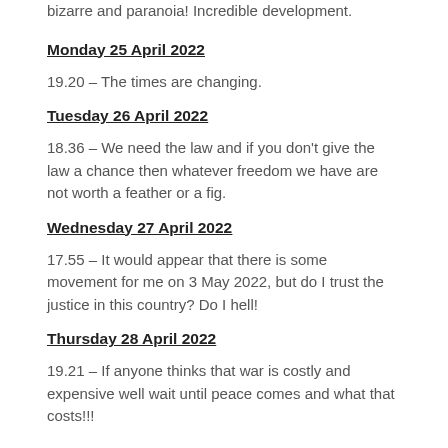bizarre and paranoia! Incredible development.
Monday 25 April 2022
19.20 – The times are changing.
Tuesday 26 April 2022
18.36 – We need the law and if you don't give the law a chance then whatever freedom we have are not worth a feather or a fig.
Wednesday 27 April 2022
17.55 – It would appear that there is some movement for me on 3 May 2022, but do I trust the justice in this country? Do I hell!
Thursday 28 April 2022
19.21 – If anyone thinks that war is costly and expensive well wait until peace comes and what that costs!!!